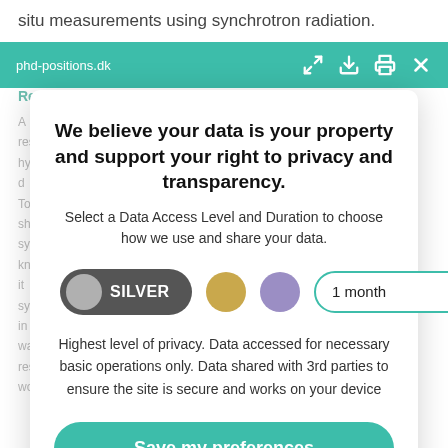situ measurements using synchrotron radiation.
phd-positions.dk
Requirements
We believe your data is your property and support your right to privacy and transparency.
Select a Data Access Level and Duration to choose how we use and share your data.
SILVER  |  1 month
Highest level of privacy. Data accessed for necessary basic operations only. Data shared with 3rd parties to ensure the site is secure and works on your device
Save my preferences
Customize
Privacy policy